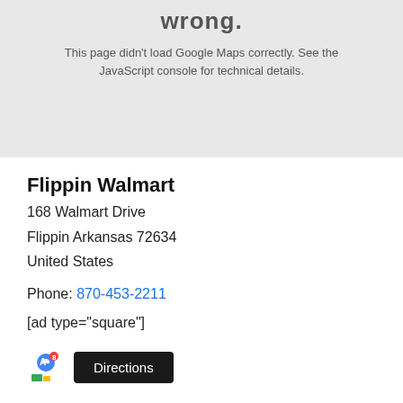[Figure (screenshot): Google Maps error box with light gray background showing partial 'wrong.' heading and error message text]
This page didn't load Google Maps correctly. See the JavaScript console for technical details.
Flippin Walmart
168 Walmart Drive
Floppin Arkansas 72634
United States
Phone: 870-453-2211
[ad type="square"]
[Figure (logo): Google Maps pin icon logo]